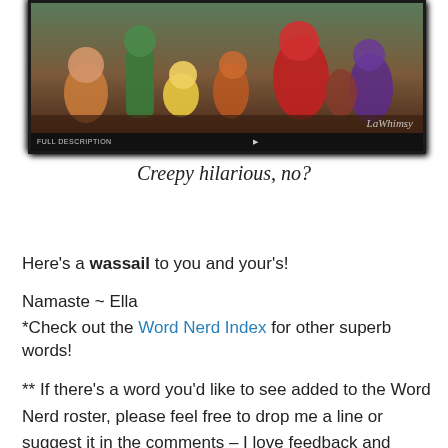[Figure (photo): Screenshot of a clay animation video showing colorful clay figures/characters crowded together, with a dark video player bar at the bottom. Watermark text 'LaWhimsy' visible in lower right.]
Creepy hilarious, no?
Here's a wassail to you and your's!
Namaste ~ Ella
*Check out the Word Nerd Index for other superb words!
** If there's a word you'd like to see added to the Word Nerd roster, please feel free to drop me a line or suggest it in the comments – I love feedback and recommendations!